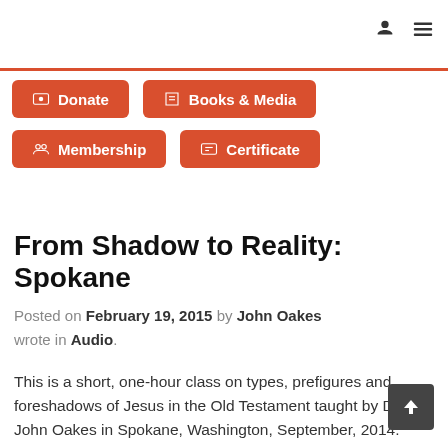Donate
Books & Media
Membership
Certificate
From Shadow to Reality: Spokane
Posted on February 19, 2015 by John Oakes wrote in Audio.
This is a short, one-hour class on types, prefigures and foreshadows of Jesus in the Old Testament taught by Dr. John Oakes in Spokane, Washington, September, 2014.  Material is taken from Dr. Oakes' book From Shadow to Reality, available at www.ipibooks.com.   This class focuses principally on historical foreshadows, with some material on personal prefigures.